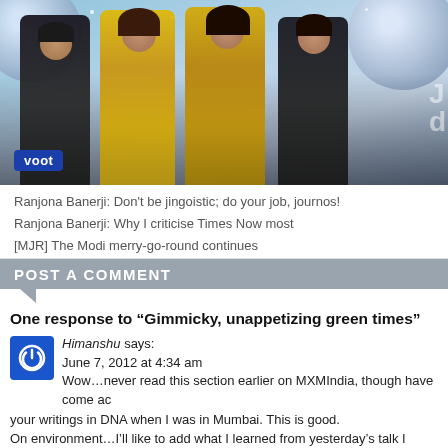[Figure (photo): Banner image showing four Bollywood celebrities in gold outfits against a disco ball background, with a Voot logo badge in the bottom left.]
Ranjona Banerji: Don't be jingoistic; do your job, journos!
Ranjona Banerji: Why I criticise Times Now most
[MJR] The Modi merry-go-round continues
POST A COMMENT
One response to “Gimmicky, unappetizing green times”
Himanshu says:
June 7, 2012 at 4:34 am
Wow…never read this section earlier on MXMIndia, though have come across your writings in DNA when I was in Mumbai. This is good.
On environment…I’ll like to add what I learned from yesterday’s talk I attended by authors (Simone, Navi and Rajdeep) of Jugaad Innovation…
1. Mansukhbhai in Gujarat make earthen refrigerators that are made of clay and run without electricity. He also make non stick frying pans made of clay…!!
2. Came to know about a Bangalore based organization that makes baby incubators priced at approx $200 and work without electricity…
There were other umpteen examples of how frugal and flexible materials are being employed by these entrepreneurs which are not only eco-friendly but also innovative. I don’t know if TOI carried such stories!